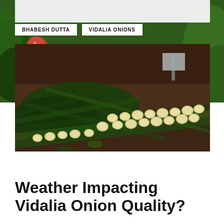BHABESH DUTTA
VIDALIA ONIONS
[Figure (photo): Rows of harvested Vidalia onions with green stems laid out on soil in a field]
Weather Impacting Vidalia Onion Quality?